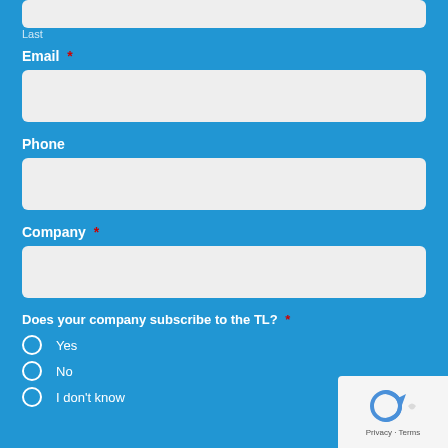Last
Email *
Phone
Company *
Does your company subscribe to the TL? *
Yes
No
I don't know